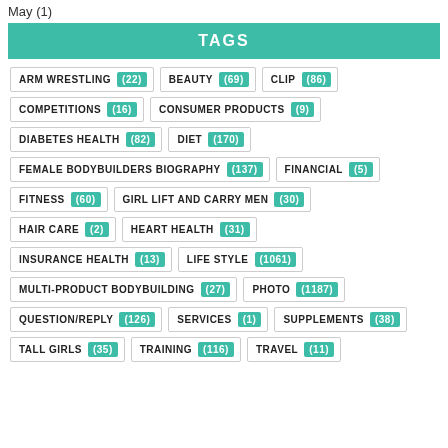May (1)
TAGS
ARM WRESTLING (22)
BEAUTY (69)
CLIP (86)
COMPETITIONS (16)
CONSUMER PRODUCTS (9)
DIABETES HEALTH (82)
DIET (170)
FEMALE BODYBUILDERS BIOGRAPHY (137)
FINANCIAL (5)
FITNESS (60)
GIRL LIFT AND CARRY MEN (30)
HAIR CARE (2)
HEART HEALTH (31)
INSURANCE HEALTH (13)
LIFE STYLE (1061)
MULTI-PRODUCT BODYBUILDING (27)
PHOTO (1187)
QUESTION/REPLY (126)
SERVICES (1)
SUPPLEMENTS (38)
TALL GIRLS (35)
TRAINING (116)
TRAVEL (11)